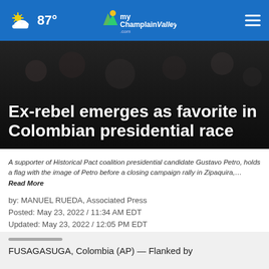87° myChamplainValley.com
Ex-rebel emerges as favorite in Colombian presidential race
A supporter of Historical Pact coalition presidential candidate Gustavo Petro, holds a flag with the image of Petro before a closing campaign rally in Zipaquira,… Read More
by: MANUEL RUEDA, Associated Press
Posted: May 23, 2022 / 11:34 AM EDT
Updated: May 23, 2022 / 12:05 PM EDT
SHARE
FUSAGASUGA, Colombia (AP) — Flanked by